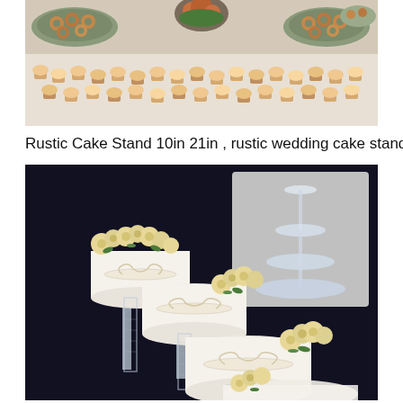[Figure (photo): A table spread with multiple round trays/pans filled with donuts and cupcakes arranged in a dessert display]
Rustic Cake Stand 10in 21in , rustic wedding cake stand
[Figure (photo): A cascading tiered wedding cake stand with three white fondant cakes decorated with cream roses and ribbon bows on clear acrylic pillared stands at different heights, with an inset image showing the clear acrylic stand structure alone on a gray background]